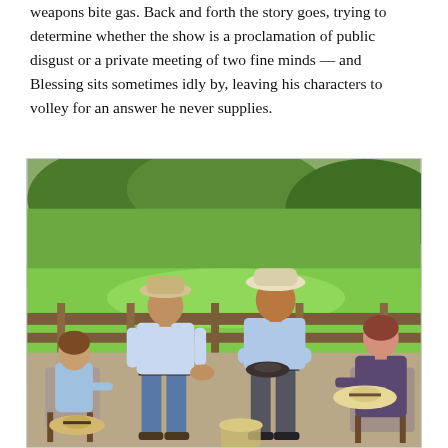weapons bite gas. Back and forth the story goes, trying to determine whether the show is a proclamation of public disgust or a private meeting of two fine minds — and Blessing sits sometimes idly by, leaving his characters to volley for an answer he never supplies.
[Figure (photo): Four people outdoors on a ranch or farm setting with green grass and a wooden fence in the background. Two men stand in the center wearing cowboy hats and light blue shirts; a shorter woman sits at left, a woman sits at right holding a straw hat. There are additional hats being held or resting nearby.]